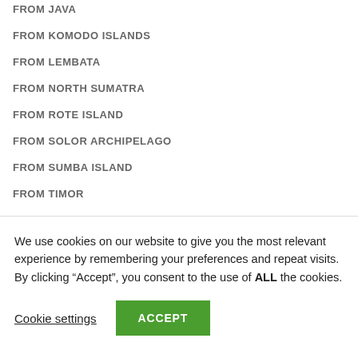FROM JAVA
FROM KOMODO ISLANDS
FROM LEMBATA
FROM NORTH SUMATRA
FROM ROTE ISLAND
FROM SOLOR ARCHIPELAGO
FROM SUMBA ISLAND
FROM TIMOR
THE NATURAL DYE PROJECT
We use cookies on our website to give you the most relevant experience by remembering your preferences and repeat visits. By clicking “Accept”, you consent to the use of ALL the cookies.
Cookie settings | ACCEPT